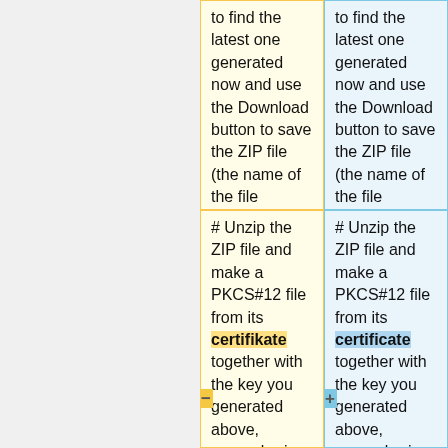to find the latest one generated now and use the Download button to save the ZIP file (the name of the file depends on your name).
to find the latest one generated now and use the Download button to save the ZIP file (the name of the file depends on your name).
# Unzip the ZIP file and make a PKCS#12 file from its certifikate together with the key you generated above, remembering that your exact names for the directory and certificate file will
# Unzip the ZIP file and make a PKCS#12 file from its certificate together with the key you generated above, remembering that your exact names for the directory and certificate file will